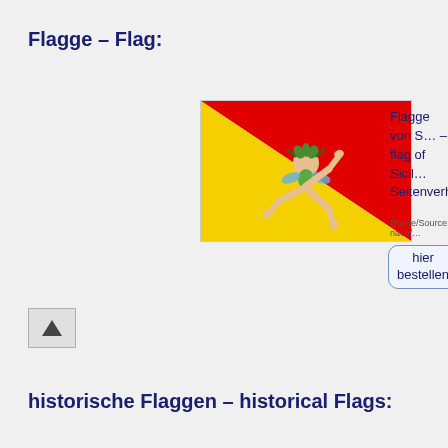Flagge – Flag:
[Figure (illustration): Flag of Sicily: diagonal split with red upper-right triangle and yellow lower-left triangle, with the Trinacria symbol (three legs and Medusa head) in the center]
Flagge von S… – flag of Sicil… Seitenverhält…
Quelle/Source: nach/…
hier bestellen
[Figure (other): Up arrow navigation button]
historische Flaggen – historical Flags: